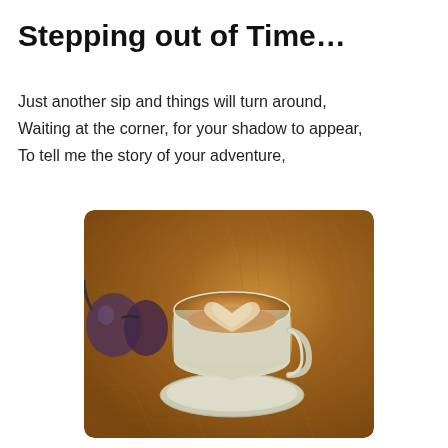Stepping out of Time…
Just another sip and things will turn around,
Waiting at the corner, for your shadow to appear,
To tell me the story of your adventure,
[Figure (photo): A latte with heart-shaped latte art in a white cup and saucer on a scratched wooden table, with sunglasses visible on the left side.]